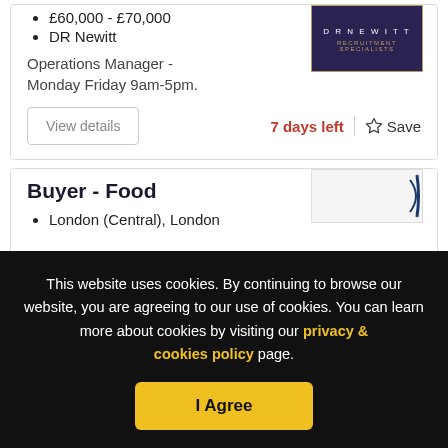£60,000 - £70,000
DR Newitt
Operations Manager - Monday Friday 9am-5pm.
[Figure (logo): DR Newitt Recruitment Specialists logo, dark navy background with gold border]
View details
7 days left
Save
Buyer - Food
London (Central), London
[Figure (logo): Partial logo visible at bottom right of second job card]
This website uses cookies. By continuing to browse our website, you are agreeing to our use of cookies. You can learn more about cookies by visiting our privacy & cookies policy page.
I Agree